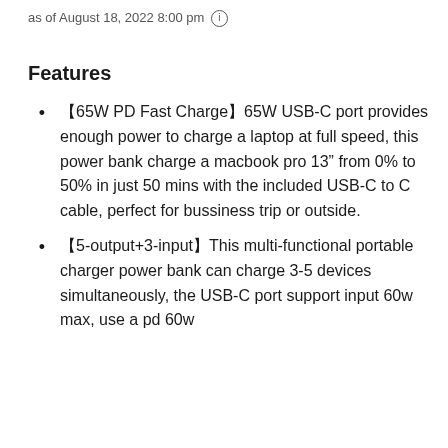as of August 18, 2022 8:00 pm (i)
Features
 65W PD Fast Charge 65W USB-C port provides enough power to charge a laptop at full speed, this power bank charge a macbook pro 13” from 0% to 50% in just 50 mins with the included USB-C to C cable, perfect for bussiness trip or outside.
 5-output+3-input This multi-functional portable charger power bank can charge 3-5 devices simultaneously, the USB-C port support input 60w max, use a pd 60w